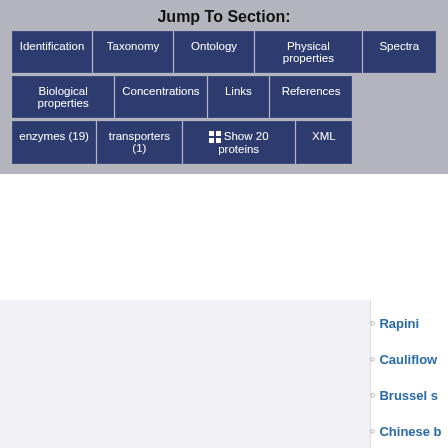Jump To Section:
Identification
Taxonomy
Ontology
Physical properties
Spectra
Biological properties
Concentrations
Links
References
enzymes (19)
transporters (1)
Show 20 proteins
XML
Rapini
Cauliflower
Brussel sprouts
Chinese broccoli
Broccoli
Chinese cabbage
Kale
Mustard spinach
Cabbage
White cabbage
Green cabbage
Other vegetables